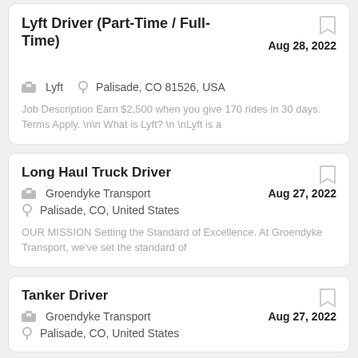Lyft Driver (Part-Time / Full-Time)
Aug 28, 2022
Lyft   Palisade, CO 81526, USA
Job Description Earn $2,500 when you give 170 rides in 30 days. Terms Apply. \n\n What is Lyft? \n \nLyft is a
Long Haul Truck Driver
Aug 27, 2022
Groendyke Transport
Palisade, CO, United States
OUR MISSION Setting the Standard of Excellence. At Groendyke Transport, we've set the standard of
Tanker Driver
Aug 27, 2022
Groendyke Transport
Palisade, CO, United States